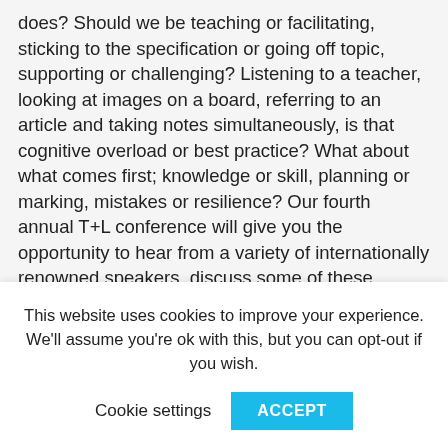does? Should we be teaching or facilitating, sticking to the specification or going off topic, supporting or challenging? Listening to a teacher, looking at images on a board, referring to an article and taking notes simultaneously, is that cognitive overload or best practice? What about what comes first; knowledge or skill, planning or marking, mistakes or resilience? Our fourth annual T+L conference will give you the opportunity to hear from a variety of internationally renowned speakers, discuss some of these questions, and hopefully make your own mind up about what is best for your pupils. There isn't a one size fits all approach to education, and
This website uses cookies to improve your experience. We'll assume you're ok with this, but you can opt-out if you wish.
Cookie settings   ACCEPT